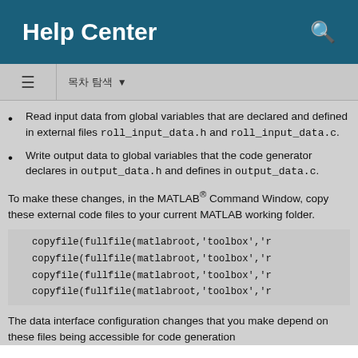Help Center
목차 탐색
Read input data from global variables that are declared and defined in external files roll_input_data.h and roll_input_data.c.
Write output data to global variables that the code generator declares in output_data.h and defines in output_data.c.
To make these changes, in the MATLAB® Command Window, copy these external code files to your current MATLAB working folder.
copyfile(fullfile(matlabroot,'toolbox','r
copyfile(fullfile(matlabroot,'toolbox','r
copyfile(fullfile(matlabroot,'toolbox','r
copyfile(fullfile(matlabroot,'toolbox','r
The data interface configuration changes that you make depend on these files being accessible for code generation with the build process. The build process…